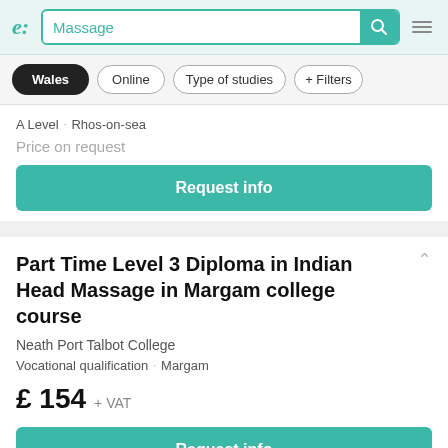e: [logo] Massage [search]
Wales
Online
Type of studies
+ Filters
A Level · Rhos-on-sea
Price on request
Request info
Part Time Level 3 Diploma in Indian Head Massage in Margam college course
Neath Port Talbot College
Vocational qualification · Margam
£ 154 + VAT
Request info